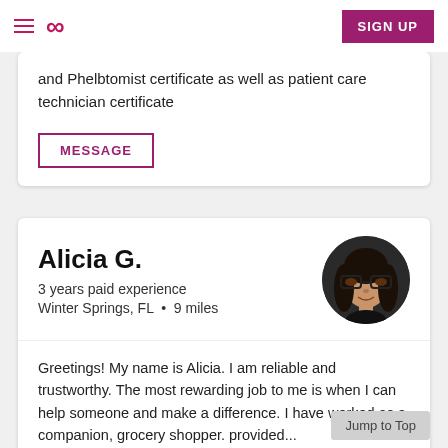Navigation bar with hamburger menu, infinity logo, and SIGN UP button
and Phelbtomist certificate as well as patient care technician certificate
MESSAGE
Alicia G.
3 years paid experience
Winter Springs, FL  •  9 miles
[Figure (photo): Circular profile photo of a woman with glasses and dark wavy hair, smiling]
Greetings! My name is Alicia. I am reliable and trustworthy. The most rewarding job to me is when I can help someone and make a difference. I have worked as a companion, grocery shopper. provided...
Jump to Top